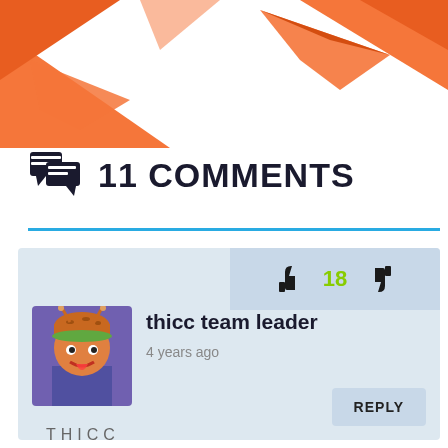[Figure (illustration): Orange decorative header with paper airplane / triangle shapes on white background]
11 COMMENTS
thicc team leader
4 years ago
THICC
REPLY